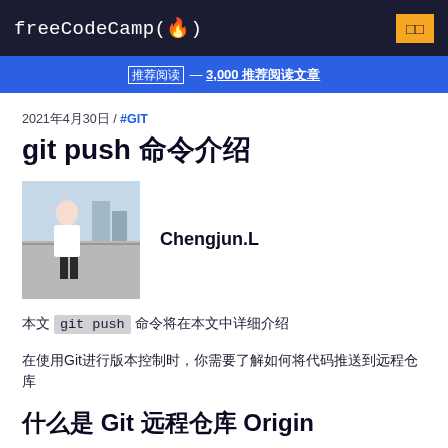freeCodeCamp(🔥)
推荐阅读 — 3,000 推荐阅读文章
2021年4月30日 / #GIT
git push 命令介绍
Chengjun.L
今天 git push 命令将在本文中详细介绍
在使用Git进行版本控制时，你需要了解如何将代码推送到远程仓库
什么是 Git 远程仓库 Origin